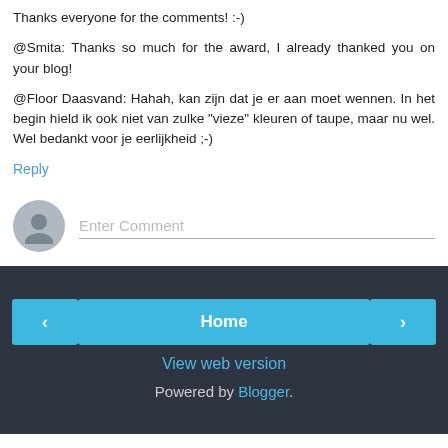Thanks everyone for the comments! :-)
@Smita: Thanks so much for the award, I already thanked you on your blog!
@Floor Daasvand: Hahah, kan zijn dat je er aan moet wennen. In het begin hield ik ook niet van zulke "vieze" kleuren of taupe, maar nu wel. Wel bedankt voor je eerlijkheid ;-)
Reply
Enter Comment
Home | View web version | Powered by Blogger.